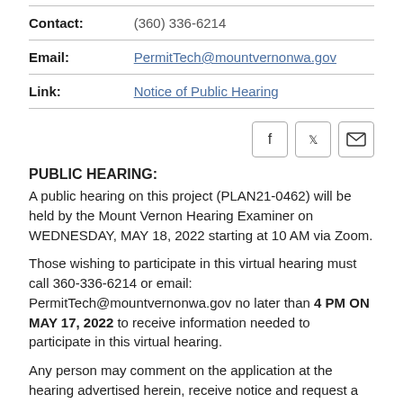| Label | Value |
| --- | --- |
| Contact: | (360) 336-6214 |
| Email: | PermitTech@mountvernonwa.gov |
| Link: | Notice of Public Hearing |
[Figure (other): Social sharing icons: Facebook, Twitter, Email]
PUBLIC HEARING:
A public hearing on this project (PLAN21-0462) will be held by the Mount Vernon Hearing Examiner on WEDNESDAY, MAY 18, 2022 starting at 10 AM via Zoom.
Those wishing to participate in this virtual hearing must call 360-336-6214 or email: PermitTech@mountvernonwa.gov no later than 4 PM ON MAY 17, 2022 to receive information needed to participate in this virtual hearing.
Any person may comment on the application at the hearing advertised herein, receive notice and request a